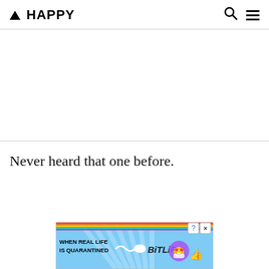▲ HAPPY
[Figure (screenshot): White advertisement area between two horizontal dividers]
Never heard that one before.
[Figure (screenshot): BitLife advertisement banner with rainbow gradient, text WHEN REAL LIFE IS QUARANTINED, BitLife logo, star-eyes emoji with mask, and thumbs up]